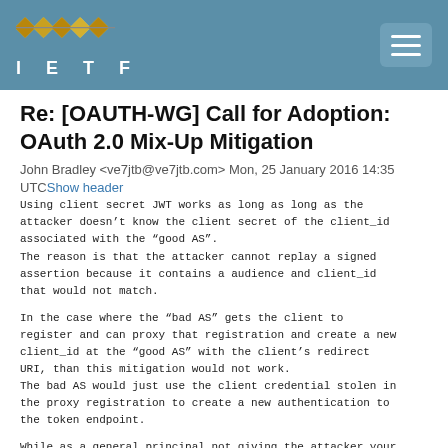IETF
Re: [OAUTH-WG] Call for Adoption: OAuth 2.0 Mix-Up Mitigation
John Bradley <ve7jtb@ve7jtb.com> Mon, 25 January 2016 14:35 UTCShow header
Using client secret JWT works as long as long as the attacker doesn’t know the client secret of the client_id associated with the “good AS”.
The reason is that the attacker cannot replay a signed assertion because it contains a audience and client_id that would not match.
In the case where the “bad AS” gets the client to register and can proxy that registration and create a new client_id at the “good AS” with the client’s redirect URI, than this mitigation would not work.
The bad AS would just use the client credential stolen in the proxy registration to create a new authentication to the token endpoint.
While as a general principal not giving the attacker your credential unencrypted on the wire is a very good thing,